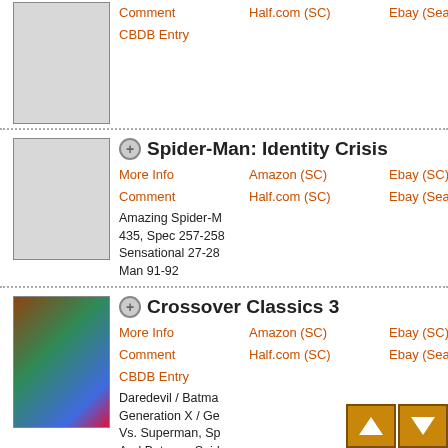Comment | Half.com (SC) | Ebay (Search) | CBDB Entry
Spider-Man: Identity Crisis
More Info | Amazon (SC) | Ebay (SC)
Comment | Half.com (SC) | Ebay (Search)
Amazing Spider-M... 435, Spec 257-258... Sensational 27-28... Man 91-92
Crossover Classics 3
More Info | Amazon (SC) | Ebay (SC)
Comment | Half.com (SC) | Ebay (Search)
CBDB Entry
Daredevil / Batma... Generation X / Ge... Vs. Superman, Sp... And Batman, Spid... Gen13, Team X / T...
Green Lantern: Will World
More Info | Amazon | Ebay (ISBN)
3 Comments | Half.com | Ebay (Search)
CBDB Entry
Original Graphic N...
9-11 Vol. 2: September 11, 2001
More Info | Amazon (SC) | Ebay (SC)
Comment | Half.com (SC) | Ebay (Search)
CBDB Entry
Original Graphic A...